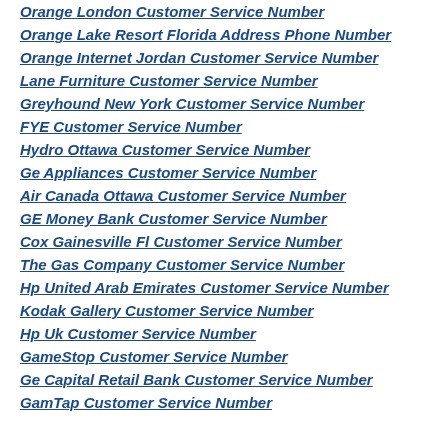Orange London Customer Service Number
Orange Lake Resort Florida Address Phone Number
Orange Internet Jordan Customer Service Number
Lane Furniture Customer Service Number
Greyhound New York Customer Service Number
FYE Customer Service Number
Hydro Ottawa Customer Service Number
Ge Appliances Customer Service Number
Air Canada Ottawa Customer Service Number
GE Money Bank Customer Service Number
Cox Gainesville Fl Customer Service Number
The Gas Company Customer Service Number
Hp United Arab Emirates Customer Service Number
Kodak Gallery Customer Service Number
Hp Uk Customer Service Number
GameStop Customer Service Number
Ge Capital Retail Bank Customer Service Number
GamTap Customer Service Number